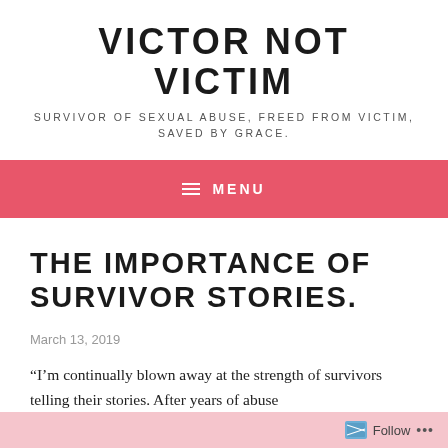VICTOR NOT VICTIM
SURVIVOR OF SEXUAL ABUSE, FREED FROM VICTIM, SAVED BY GRACE.
≡  MENU
THE IMPORTANCE OF SURVIVOR STORIES.
March 13, 2019
“I’m continually blown away at the strength of survivors telling their stories. After years of abuse
Follow